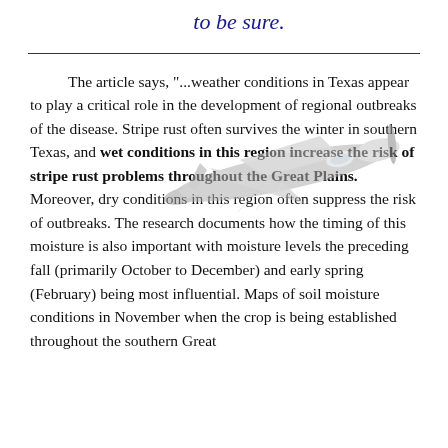to be sure.
The article says, "...weather conditions in Texas appear to play a critical role in the development of regional outbreaks of the disease. Stripe rust often survives the winter in southern Texas, and wet conditions in this region increase the risk of stripe rust problems throughout the Great Plains. Moreover, dry conditions in this region often suppress the risk of outbreaks. The research documents how the timing of this moisture is also important with moisture levels the preceding fall (primarily October to December) and early spring (February) being most influential. Maps of soil moisture conditions in November when the crop is being established throughout the southern Great
[Figure (illustration): A grayscale airplane/crop duster flying diagonally across the text area]